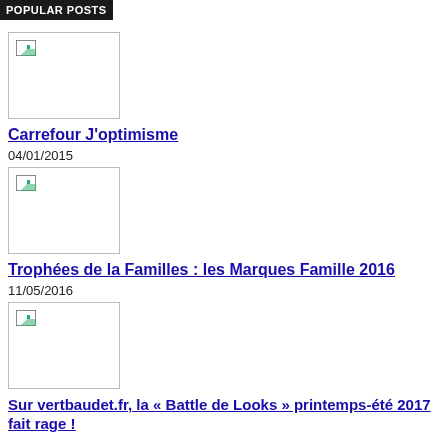POPULAR POSTS
[Figure (photo): Broken/unloaded image placeholder thumbnail]
Carrefour J'optimisme
04/01/2015
[Figure (photo): Broken/unloaded image placeholder thumbnail]
Trophées de la Familles : les Marques Famille 2016
11/05/2016
[Figure (photo): Broken/unloaded image placeholder thumbnail]
Sur vertbaudet.fr, la « Battle de Looks » printemps-été 2017 fait rage !